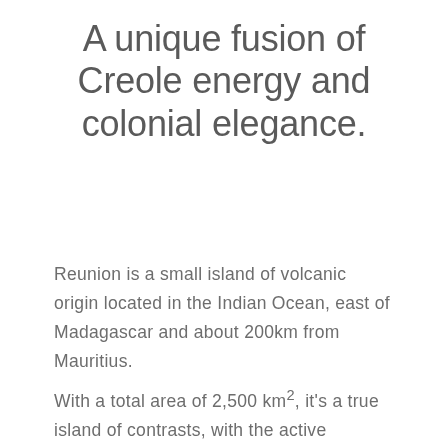A unique fusion of Creole energy and colonial elegance.
Reunion is a small island of volcanic origin located in the Indian Ocean, east of Madagascar and about 200km from Mauritius.
With a total area of 2,500 km², it's a true island of contrasts, with the active volcano of Piton de la Fournaise on its south